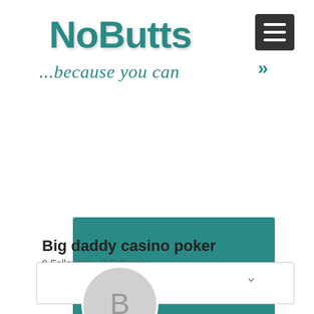NoButts
...because you can
[Figure (screenshot): Mobile app profile page screenshot showing a teal/green profile banner with a Follow button, a circular avatar with letter B, profile name Big daddy casino poker, and follower/following stats]
Big daddy casino poker
0 Followers • 0 Following